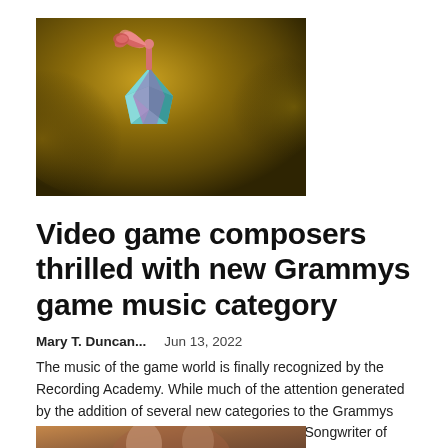[Figure (photo): Grammy trophy figurine (colorful geometric base with pink/coral phonograph horn) on a golden-brown smoky background]
Video game composers thrilled with new Grammys game music category
Mary T. Duncan...   Jun 13, 2022
The music of the game world is finally recognized by the Recording Academy. While much of the attention generated by the addition of several new categories to the Grammys last week has focused on news of the New Songwriter of the...
[Figure (photo): Partially visible photo at the bottom of the page]